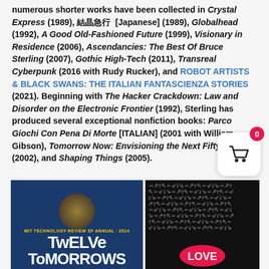numerous shorter works have been collected in Crystal Express (1989), 結晶急行 [Japanese] (1989), Globalhead (1992), A Good Old-Fashioned Future (1999), Visionary in Residence (2006), Ascendancies: The Best Of Bruce Sterling (2007), Gothic High-Tech (2011), Transreal Cyberpunk (2016 with Rudy Rucker), and ROBOT ARTISTS & BLACK SWANS: THE ITALIAN FANTASCIENZA STORIES (2021). Beginning with The Hacker Crackdown: Law and Disorder on the Electronic Frontier (1992), Sterling has produced several exceptional nonfiction books: Parco Giochi Con Pena Di Morte [ITALIAN] (2001 with William Gibson), Tomorrow Now: Envisioning the Next Fifty Years (2002), and Shaping Things (2005).
[Figure (photo): Book cover: MIT Technology Review SF Annual 2014 - Twelve Tomorrows, dark blue with glowing circle]
[Figure (photo): Book cover: black background with white arrow pattern and pink LOVE badge at bottom]